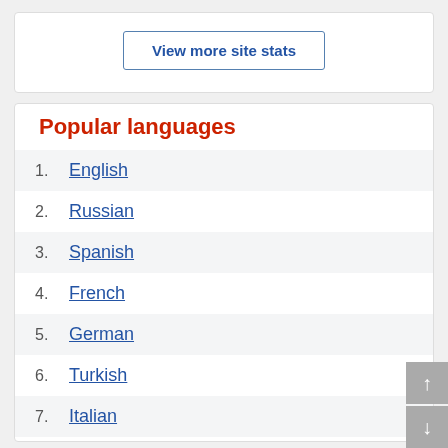View more site stats
Popular languages
1. English
2. Russian
3. Spanish
4. French
5. German
6. Turkish
7. Italian